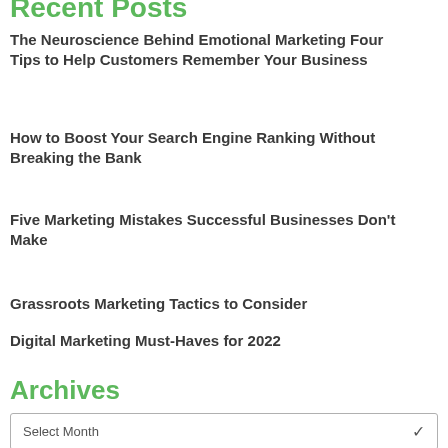Recent Posts
The Neuroscience Behind Emotional Marketing Four Tips to Help Customers Remember Your Business
How to Boost Your Search Engine Ranking Without Breaking the Bank
Five Marketing Mistakes Successful Businesses Don’t Make
Grassroots Marketing Tactics to Consider
Digital Marketing Must-Haves for 2022
Archives
Select Month